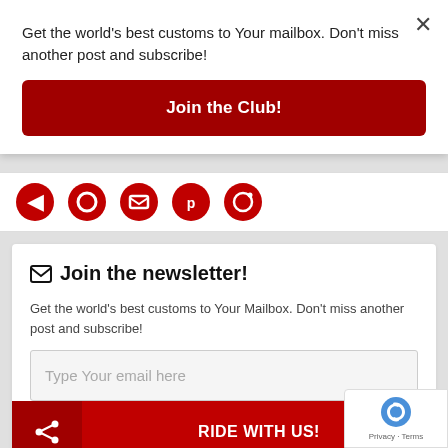Get the world's best customs to Your mailbox. Don't miss another post and subscribe!
Join the Club!
✉ Join the newsletter!
Get the world's best customs to Your Mailbox. Don't miss another post and subscribe!
Type Your email here
RIDE WITH US!